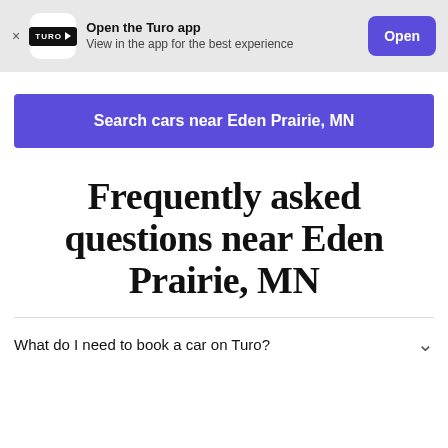Open the Turo app – View in the app for the best experience – Open
Search cars near Eden Prairie, MN
Frequently asked questions near Eden Prairie, MN
What do I need to book a car on Turo?